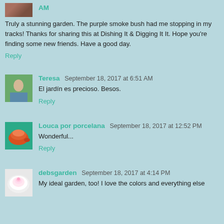Truly a stunning garden. The purple smoke bush had me stopping in my tracks! Thanks for sharing this at Dishing It & Digging It It. Hope you're finding some new friends. Have a good day.
Reply
Teresa  September 18, 2017 at 6:51 AM
El jardín es precioso. Besos.
Reply
Louca por porcelana  September 18, 2017 at 12:52 PM
Wonderful...
Reply
debsgarden  September 18, 2017 at 4:14 PM
My ideal garden, too! I love the colors and everything else